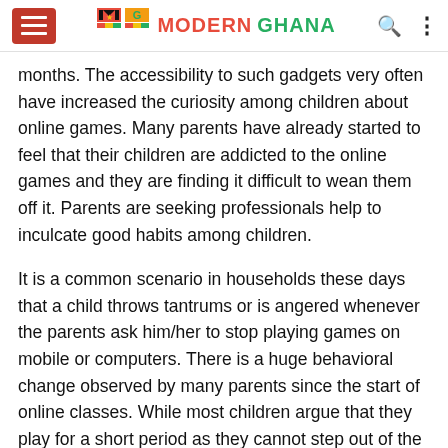Modern Ghana
months. The accessibility to such gadgets very often have increased the curiosity among children about online games. Many parents have already started to feel that their children are addicted to the online games and they are finding it difficult to wean them off it. Parents are seeking professionals help to inculcate good habits among children.
It is a common scenario in households these days that a child throws tantrums or is angered whenever the parents ask him/her to stop playing games on mobile or computers. There is a huge behavioral change observed by many parents since the start of online classes. While most children argue that they play for a short period as they cannot step out of the house, others are resorting to tantrums like throwing things,